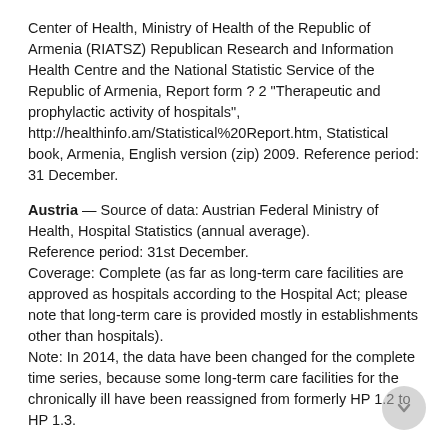Center of Health, Ministry of Health of the Republic of Armenia (RIATSZ) Republican Research and Information Health Centre and the National Statistic Service of the Republic of Armenia, Report form ? 2 "Therapeutic and prophylactic activity of hospitals", http://healthinfo.am/Statistical%20Report.htm, Statistical book, Armenia, English version (zip) 2009. Reference period: 31 December.
Austria — Source of data: Austrian Federal Ministry of Health, Hospital Statistics (annual average). Reference period: 31st December. Coverage: Complete (as far as long-term care facilities are approved as hospitals according to the Hospital Act; please note that long-term care is provided mostly in establishments other than hospitals). Note: In 2014, the data have been changed for the complete time series, because some long-term care facilities for the chronically ill have been reassigned from formerly HP 1.2 to HP 1.3.
Azerbaijan — Source of data: Department of Informatics and Statistics, Ministry of Health of the Republic of Azerbaijan, form 47. Reference period: data as of December 31.